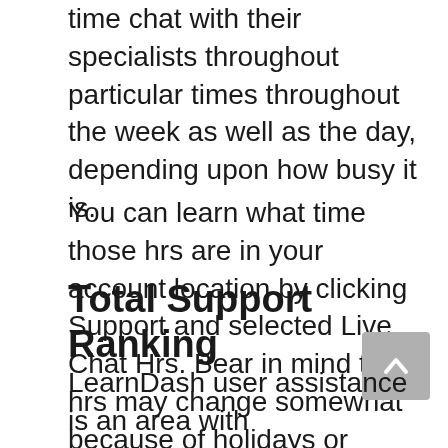time chat with their specialists throughout particular times throughout the week as well as the day, depending upon how busy it is.
You can learn what time those hrs are in your account location by clicking Support and selected Live Chat Hrs. Bear in mind these hrs may change somewhat because of holidays or special events so make certain you inspect back commonly.
Total Support Ranking
LearnDash user assistance is an area with